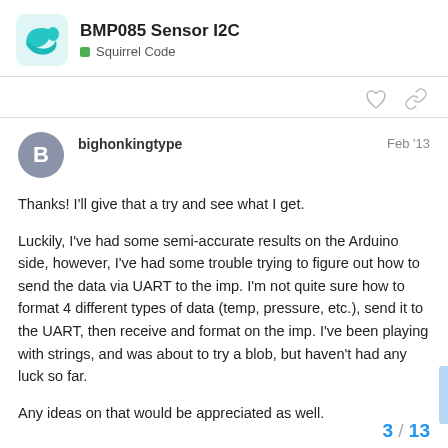BMP085 Sensor I2C — Squirrel Code
Thanks! I'll give that a try and see what I get.
Luckily, I've had some semi-accurate results on the Arduino side, however, I've had some trouble trying to figure out how to send the data via UART to the imp. I'm not quite sure how to format 4 different types of data (temp, pressure, etc.), send it to the UART, then receive and format on the imp. I've been playing with strings, and was about to try a blob, but haven't had any luck so far.
Any ideas on that would be appreciated as well.
3 / 13